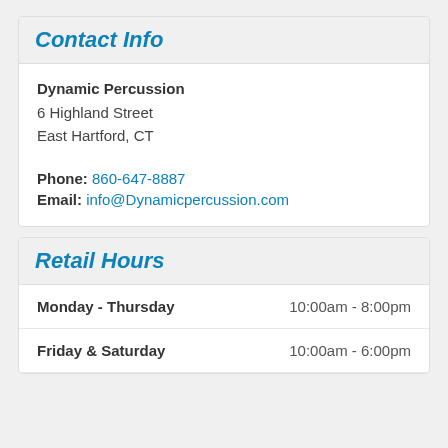Contact Info
Dynamic Percussion
6 Highland Street
East Hartford, CT
Phone: 860-647-8887
Email: info@Dynamicpercussion.com
Retail Hours
| Day | Hours |
| --- | --- |
| Monday - Thursday | 10:00am - 8:00pm |
| Friday & Saturday | 10:00am - 6:00pm |